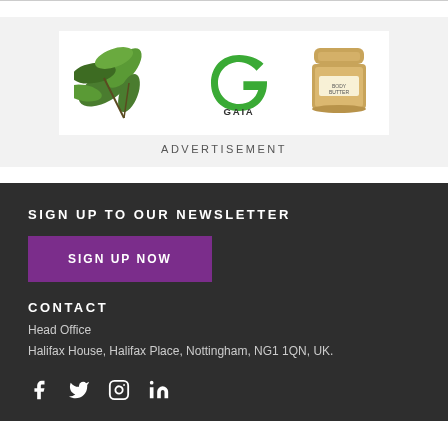[Figure (logo): GAIA advertisement banner with botanical leaf illustration on left, GAIA green logo in center, and wooden body butter jar on right]
ADVERTISEMENT
SIGN UP TO OUR NEWSLETTER
SIGN UP NOW
CONTACT
Head Office
Halifax House, Halifax Place, Nottingham, NG1 1QN, UK.
[Figure (other): Social media icons: Facebook, Twitter, Instagram, LinkedIn]